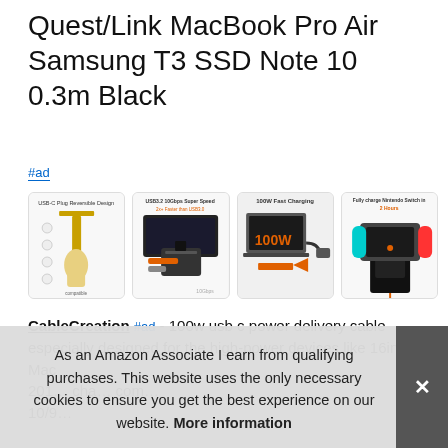Quest/Link MacBook Pro Air Samsung T3 SSD Note 10 0.3m Black
#ad
[Figure (photo): Four product thumbnail images showing USB-C cable features: reversible plug design, USB3.2 10Gbps Super Speed, 100W Fast Charging, and charging Nintendo Switch in 2 hours]
CableCreation #ad - 100w usb c power delivery cable especially designed for the high-power devices like 16inch Mac… 201… cha… com… 10/9…
As an Amazon Associate I earn from qualifying purchases. This website uses the only necessary cookies to ensure you get the best experience on our website. More information